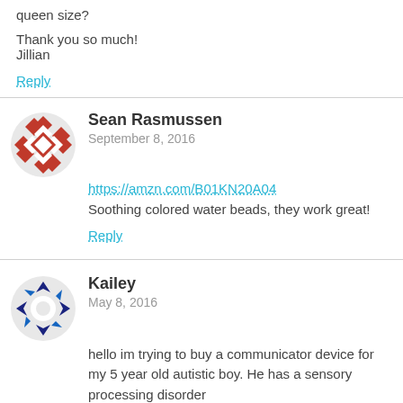queen size?
Thank you so much!
Jillian
Reply
Sean Rasmussen
September 8, 2016
https://amzn.com/B01KN20A04
Soothing colored water beads, they work great!
Reply
Kailey
May 8, 2016
hello im trying to buy a communicator device for my 5 year old autistic boy. He has a sensory processing disorder
would the total talk communicator be the best bet for him for me to buy
if anyone knows which device to buy
please let me know
Reply